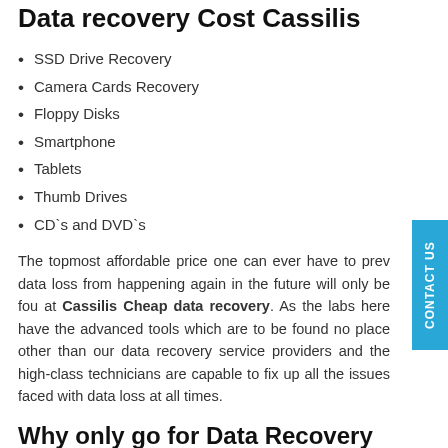Data recovery Cost Cassilis
SSD Drive Recovery
Camera Cards Recovery
Floppy Disks
Smartphone
Tablets
Thumb Drives
CD`s and DVD`s
The topmost affordable price one can ever have to prevent data loss from happening again in the future will only be found at Cassilis Cheap data recovery. As the labs here have the advanced tools which are to be found no place other than our data recovery service providers and the high-class technicians are capable to fix up all the issues faced with data loss at all times.
Why only go for Data Recovery Center Cassilis?